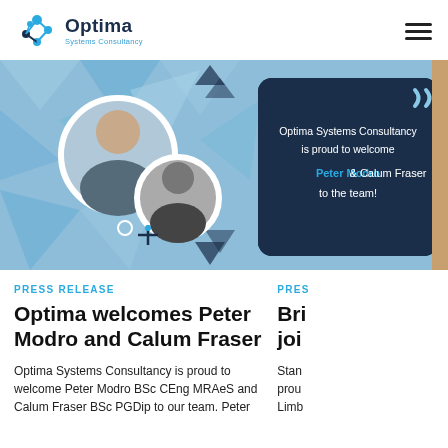Optima Systems Consultancy
[Figure (illustration): Promotional banner for Optima Systems Consultancy welcoming Peter Modro and Calum Fraser to the team, with circular profile photos on a blue geometric background and dark navy card with text.]
PRESS RELEASE
Optima welcomes Peter Modro and Calum Fraser
Optima Systems Consultancy is proud to welcome Peter Modro BSc CEng MRAeS and Calum Fraser BSc PGDip to our team. Peter
PRES
Bri… joi…
Stan… prou… Limb…